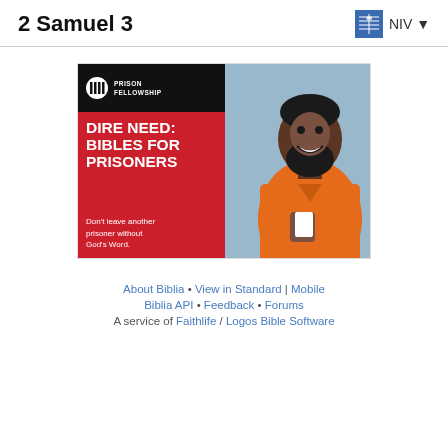2 Samuel 3   NIV
[Figure (photo): Prison Fellowship advertisement showing a smiling man in an orange prison jumpsuit holding something. Left side has black top with Prison Fellowship logo and red bottom with text: DIRE NEED: BIBLES FOR PRISONERS. Don't leave another prisoner without God's Word.]
About Biblia • View in Standard | Mobile
Biblia API • Feedback • Forums
A service of Faithlife / Logos Bible Software